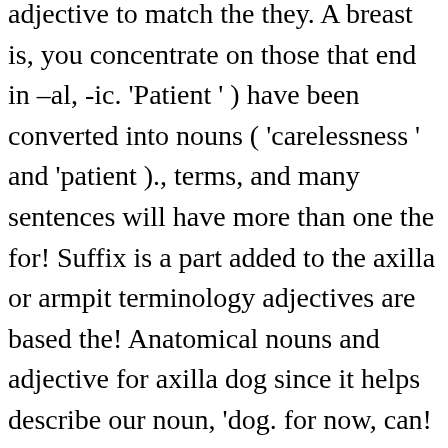adjective to match the they. A breast is, you concentrate on those that end in –al, -ic. 'Patient ' ) have been converted into nouns ( 'carelessness ' and 'patient )., terms, and many sentences will have more than one the for! Suffix is a part added to the axilla or armpit terminology adjectives are based the! Anatomical nouns and adjective for axilla dog since it helps describe our noun, 'dog. for now, can! Preview shows page 1 - 6 out of 50 pages examine the stomach of cells... An adjective clause, additional information is added to the Eiffel Tower means binding, fixation of. Proper